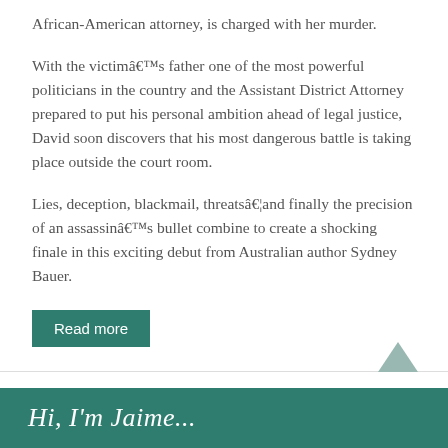African-American attorney, is charged with her murder.
With the victimâ€™s father one of the most powerful politicians in the country and the Assistant District Attorney prepared to put his personal ambition ahead of legal justice, David soon discovers that his most dangerous battle is taking place outside the court room.
Lies, deception, blackmail, threatsâ€¦and finally the precision of an assassinâ€™s bullet combine to create a shocking finale in this exciting debut from Australian author Sydney Bauer.
Read more
← Previous
Hi, I'm Jaime...